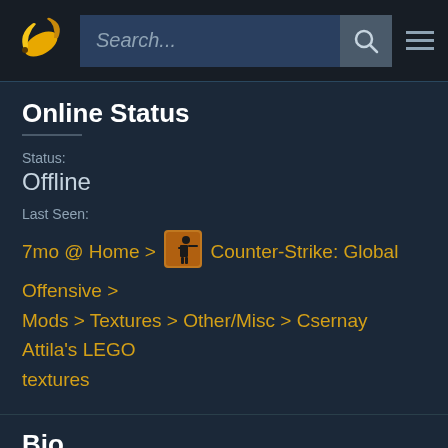Search...
Online Status
Status:
Offline
Last Seen:
7mo @ Home > Counter-Strike: Global Offensive > Mods > Textures > Other/Misc > Csernay Attila's LEGO textures
Bio
Website:
http://godwana.atw.hu
First Language:
Hungarian
City: